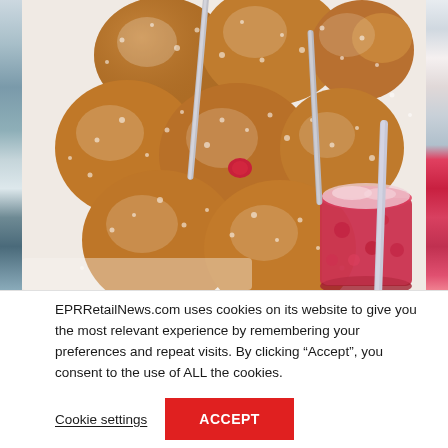[Figure (photo): Photo of sugar-dusted donut holes/bomboloni with skewers, served alongside a glass of dark red/berry drink with a straw. Partial images of other content visible on left and right edges.]
EPRRetailNews.com uses cookies on its website to give you the most relevant experience by remembering your preferences and repeat visits. By clicking “Accept”, you consent to the use of ALL the cookies.
Cookie settings
ACCEPT